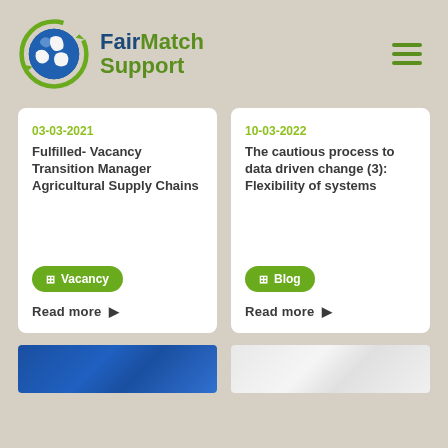[Figure (logo): FairMatch Support logo with globe icon and green/blue text]
03-03-2021
Fulfilled- Vacancy Transition Manager Agricultural Supply Chains
Vacancy
Read more ▶
10-03-2022
The cautious process to data driven change (3): Flexibility of systems
Blog
Read more ▶
[Figure (photo): Blue textured image (bottom left)]
[Figure (photo): White/grey grainy texture image (bottom right)]